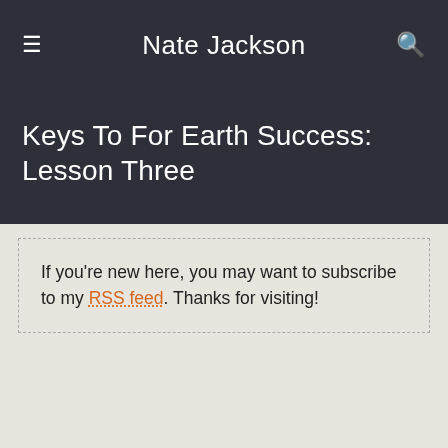Nate Jackson
Keys To For Earth Success: Lesson Three
If you're new here, you may want to subscribe to my RSS feed. Thanks for visiting!